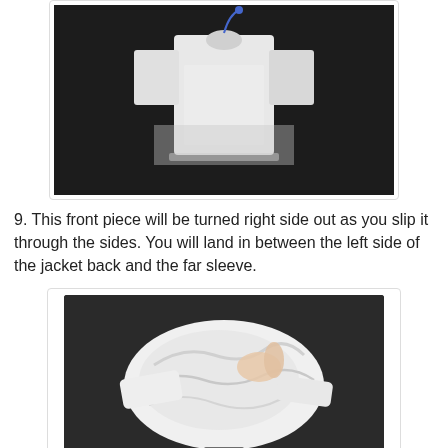[Figure (photo): A white miniature jacket/shirt form hanging by a blue thread against a dark background, showing sewing in progress]
9. This front piece will be turned right side out as you slip it through the sides. You will land in between the left side of the jacket back and the far sleeve.
[Figure (photo): Hands holding white fabric being turned right side out, labeled '10' at the bottom, dark background]
[Figure (photo): Laid out cream/white fabric pieces on a carpet, with labels reading FRONT, SLEEVE, and BACK]